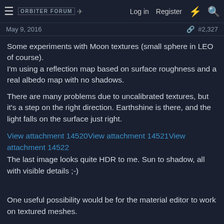ORBITER FORUM | Log in  Register
May 9, 2016  #2,327
Some experiments with Moon textures (small sphere in LEO of course).
I'm using a reflection map based on surface roughness and a real albedo map with no shadows.
There are many problems due to uncalibrated textures, but it's a step on the right direction. Earthshine is there, and the light falls on the surface just right.
View attachment 14520View attachment 14521View attachment 14522
The last image looks quite HDR to me. Sun to shadow, all with visible details ;-)
One useful possibility would be for the material editor to work on textured meshes.